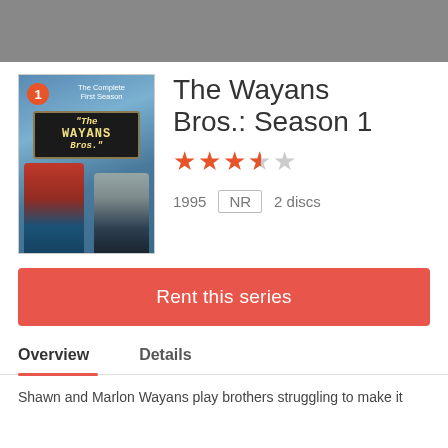[Figure (photo): DVD cover for The Wayans Bros. Season 1 complete first season, showing two men and a sign]
The Wayans Bros.: Season 1
★★★★☆ (3.5 stars out of 5)
1995   NR   2 discs
Rent this series
Overview
Details
Shawn and Marlon Wayans play brothers struggling to make it